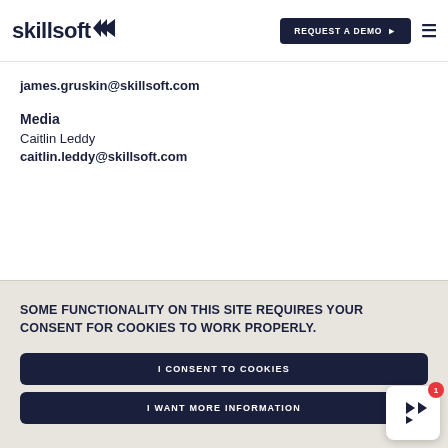skillsoft | REQUEST A DEMO
james.gruskin@skillsoft.com
Media
Caitlin Leddy
caitlin.leddy@skillsoft.com
SOME FUNCTIONALITY ON THIS SITE REQUIRES YOUR CONSENT FOR COOKIES TO WORK PROPERLY.
I CONSENT TO COOKIES
I WANT MORE INFORMATION